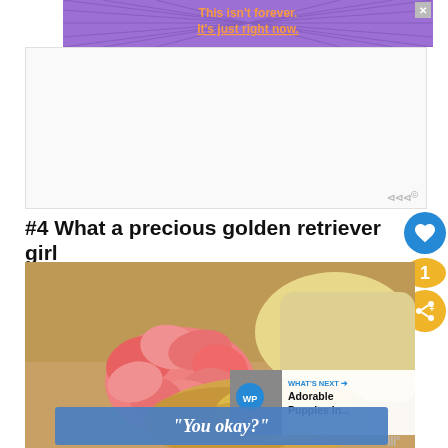[Figure (screenshot): Purple advertisement banner with radial lines and orange bold text reading 'This isn't forever. It's just right now.' with a close X button.]
[Figure (other): Large blank advertisement block with Wibble watermark logo at bottom right.]
#4 What a precious golden retriever girl
[Figure (photo): A golden retriever puppy lying on a brown couch next to a large pink flower and a yellow pillow. Overlay at bottom reads 'You okay?' in white italic text on a blue banner. WHAT'S NEXT panel with Adorable Puppies In... thumbnail visible at right.]